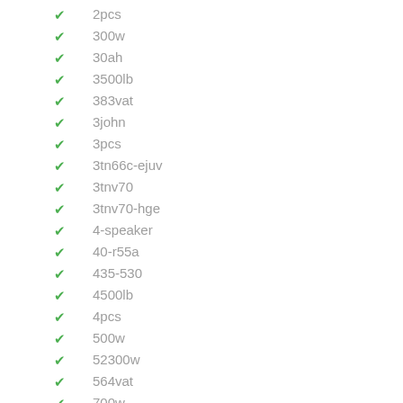2pcs
300w
30ah
3500lb
383vat
3john
3pcs
3tn66c-ejuv
3tnv70
3tnv70-hge
4-speaker
40-r55a
435-530
4500lb
4pcs
500w
52300w
564vat
700w